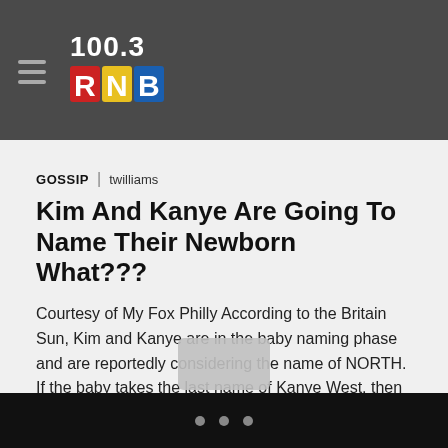100.3 RNB
GOSSIP | twilliams
Kim And Kanye Are Going To Name Their Newborn What???
Courtesy of My Fox Philly According to the Britain Sun, Kim and Kanye are in the baby naming phase and are reportedly considering the name of NORTH.  If the baby takes the last name of Kanye West, then you have the name NORTH WEST.  This is not a final decision, but it makes you think […]